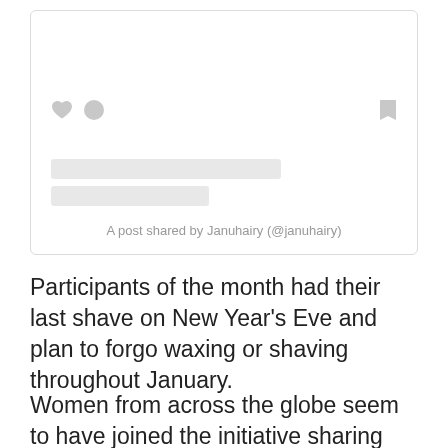[Figure (screenshot): A social media embed card (resembling an Instagram post embed) with a heart icon, comment bubble icon, bookmark icon on the right, two gray placeholder loading bars, and a caption reading 'A post shared by Januhairy (@januhairy)']
Participants of the month had their last shave on New Year's Eve and plan to forgo waxing or shaving throughout January.
Women from across the globe seem to have joined the initiative sharing pictures of their